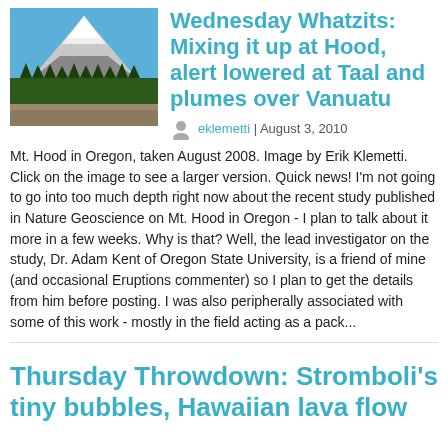[Figure (photo): Photograph of Mt. Hood in Oregon with snow-capped peak, pine forest below, blue sky]
Wednesday Whatzits: Mixing it up at Hood, alert lowered at Taal and plumes over Vanuatu
eklemetti | August 3, 2010
Mt. Hood in Oregon, taken August 2008. Image by Erik Klemetti. Click on the image to see a larger version. Quick news! I'm not going to go into too much depth right now about the recent study published in Nature Geoscience on Mt. Hood in Oregon - I plan to talk about it more in a few weeks. Why is that? Well, the lead investigator on the study, Dr. Adam Kent of Oregon State University, is a friend of mine (and occasional Eruptions commenter) so I plan to get the details from him before posting. I was also peripherally associated with some of this work - mostly in the field acting as a pack...
Thursday Throwdown: Stromboli's tiny bubbles, Hawaiian lava flow